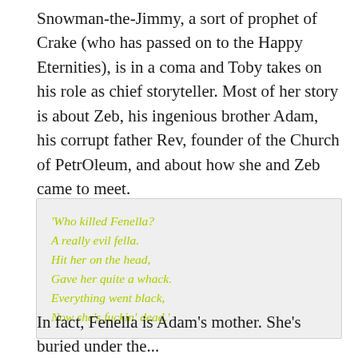Snowman-the-Jimmy, a sort of prophet of Crake (who has passed on to the Happy Eternities), is in a coma and Toby takes on his role as chief storyteller. Most of her story is about Zeb, his ingenious brother Adam, his corrupt father Rev, founder of the Church of PetrOleum, and about how she and Zeb came to meet.
'Who killed Fenella?
A really evil fella.
Hit her on the head,
Gave her quite a whack.
Everything went black,
Now she’s fuckin’ dead.'
In fact, Fenella is Adam’s mother. She’s buried under the...